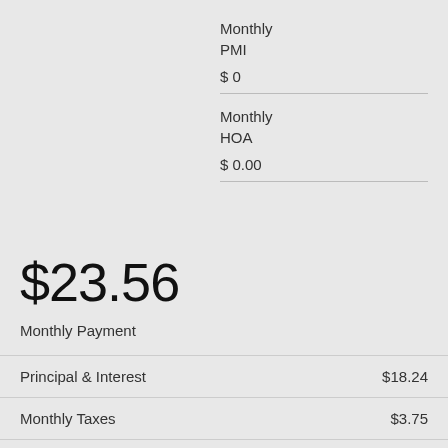Monthly PMI
$ 0
Monthly HOA
$ 0.00
$23.56
Monthly Payment
Principal & Interest    $18.24
Monthly Taxes    $3.75
Monthly HOA    $0